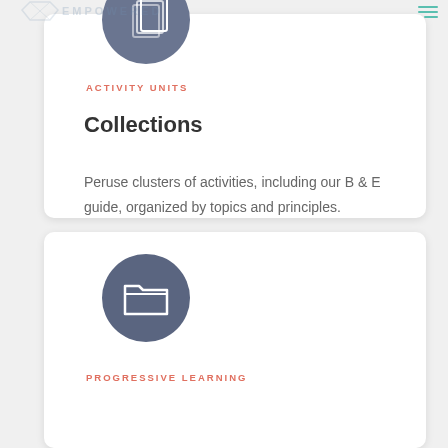[Figure (illustration): Stacked pages icon in a grey circle — top card]
ACTIVITY UNITS
Collections
Peruse clusters of activities, including our B & E guide, organized by topics and principles.
[Figure (illustration): Open folder icon in a grey circle — bottom card]
PROGRESSIVE LEARNING